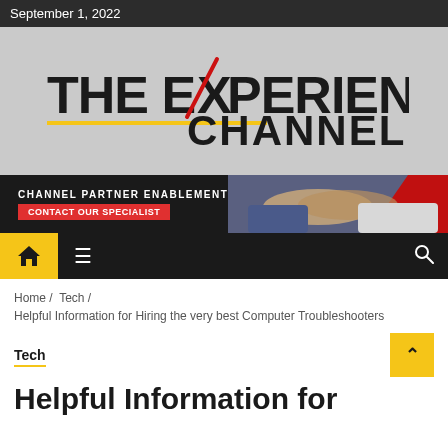September 1, 2022
[Figure (logo): The Experience Channel logo with red slash through X, yellow underline accent, on grey background. Below is a banner: CHANNEL PARTNER ENABLEMENT / CONTACT OUR SPECIALIST with handshake image on right.]
Home / Tech / Helpful Information for Hiring the very best Computer Troubleshooters
Tech
Helpful Information for Hiring the very best Computer Troubleshooters